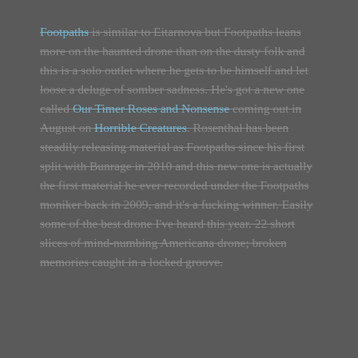Footpaths is similar to Eitarnova but Footpaths leans more on the haunted drone than on the dusty folk and this is a solo outlet where he gets to be himself and let loose a deluge of somber sadness. He's got a new one called Our Timer Roses and Nonsense coming out in August on Horrible Creatures. Rosenthal has been steadily releasing material as Footpaths since his first split with Bunrage in 2010 and this new one is actually the first material he ever recorded under the Footpaths moniker back in 2009, and it's a fucking winner. Easily some of the best drone I've heard this year. 22 short slices of mind-numbing Americana drone; broken memories caught in a locked groove.